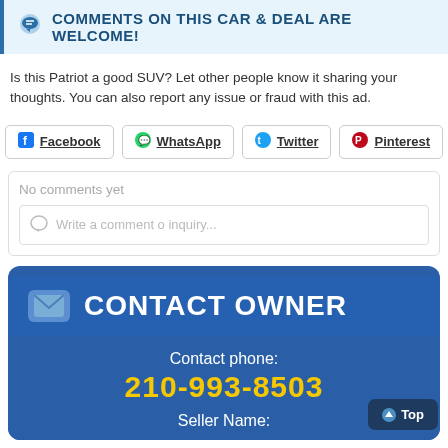COMMENTS ON THIS CAR & DEAL ARE WELCOME!
Is this Patriot a good SUV? Let other people know it sharing your thoughts. You can also report any issue or fraud with this ad.
Facebook
WhatsApp
Twitter
Pinterest
No comments yet
Write a comment o inquiry...
CONTACT OWNER
Contact phone:
210-993-8503
Seller Name: